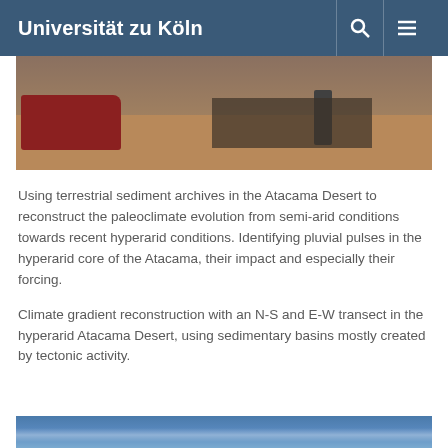Universität zu Köln
[Figure (photo): Field photograph showing a red vehicle and scientific equipment set up in a desert landscape, with a person standing near the equipment. Dry, rocky terrain visible.]
Using terrestrial sediment archives in the Atacama Desert to reconstruct the paleoclimate evolution from semi-arid conditions towards recent hyperarid conditions. Identifying pluvial pulses in the hyperarid core of the Atacama, their impact and especially their forcing.
Climate gradient reconstruction with an N-S and E-W transect in the hyperarid Atacama Desert, using sedimentary basins mostly created by tectonic activity.
[Figure (photo): Partial photograph showing a blue sky with faint cloud streaks, likely taken in the Atacama Desert.]